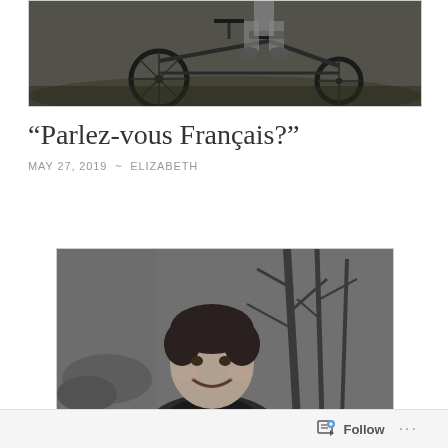[Figure (photo): Black and white photograph of a child on a tricycle on grass, partially cropped at top]
“Parlez-vous Français?”
MAY 27, 2019 ~ ELIZABETH
[Figure (photo): Black and white photograph of a smiling young person outdoors with bare trees in background]
Follow ...